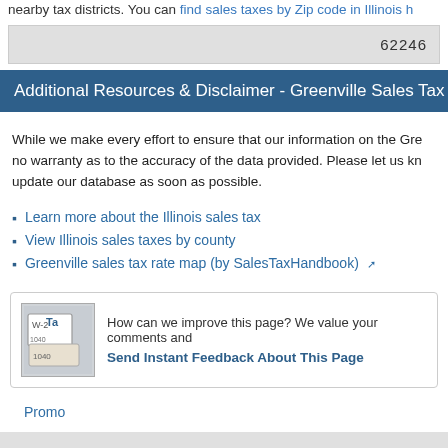nearby tax districts. You can find sales taxes by Zip code in Illinois h
62246
Additional Resources & Disclaimer - Greenville Sales Tax
While we make every effort to ensure that our information on the Gre no warranty as to the accuracy of the data provided. Please let us kn update our database as soon as possible.
Learn more about the Illinois sales tax
View Illinois sales taxes by county
Greenville sales tax rate map (by SalesTaxHandbook)
How can we improve this page? We value your comments and Send Instant Feedback About This Page
Promo